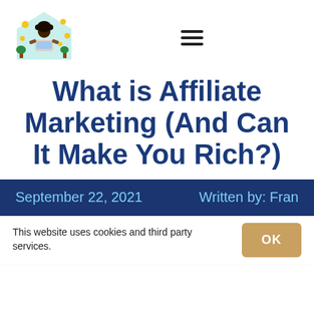[Figure (illustration): Logo illustration of a woman sitting at a laptop surrounded by coins and plants, inside a house/pentagon shape with a light blue/mint background]
What is Affiliate Marketing (And Can It Make You Rich?)
September 22, 2021    Written by: Fran
This website uses cookies and third party services.